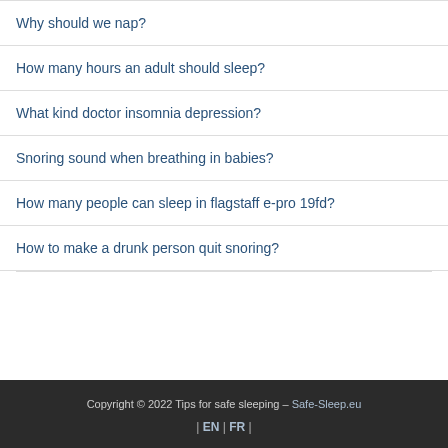Why should we nap?
How many hours an adult should sleep?
What kind doctor insomnia depression?
Snoring sound when breathing in babies?
How many people can sleep in flagstaff e-pro 19fd?
How to make a drunk person quit snoring?
Copyright © 2022 Tips for safe sleeping – Safe-Sleep.eu | EN | FR |